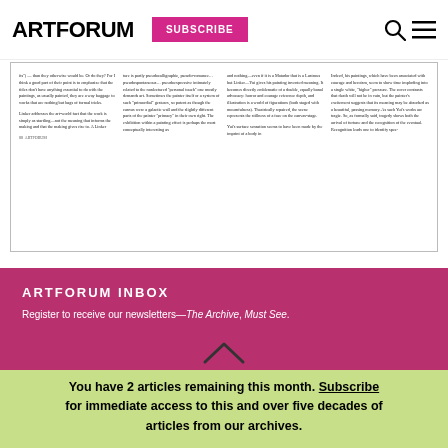ARTFORUM | SUBSCRIBE
[Figure (screenshot): Scanned article page spread shown in a bordered preview box with four columns of small serif body text and a page number '88' at bottom left]
ARTFORUM INBOX
Register to receive our newsletters—The Archive, Must See.
You have 2 articles remaining this month. Subscribe for immediate access to this and over five decades of articles from our archives.